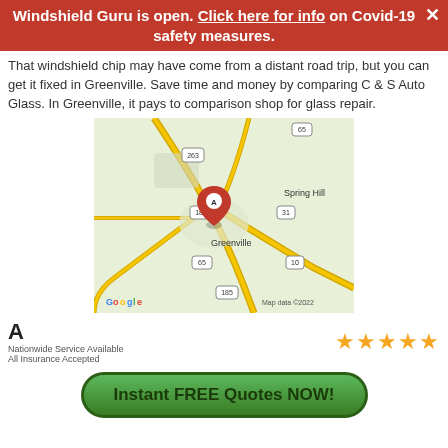Windshield Guru is open. Click here for info on Covid-19 safety measures.
That windshield chip may have come from a distant road trip, but you can get it fixed in Greenville. Save time and money by comparing C & S Auto Glass. In Greenville, it pays to comparison shop for glass repair.
[Figure (map): Google Maps screenshot showing Greenville area with marker A at Greenville, Spring Hill to the northeast, routes 65, 31, 10, 185, 263 visible. Map data ©2022.]
A
Nationwide Service Available
All Insurance Accepted
Instant FREE Quotes NOW!